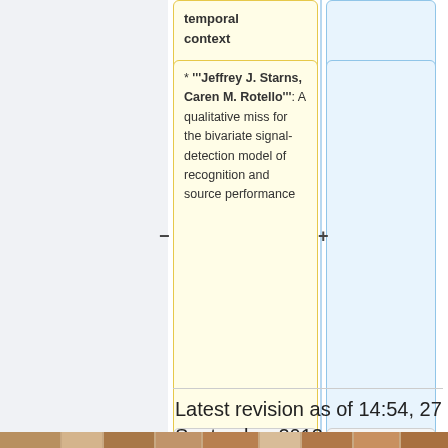temporal context
* '''Jeffrey J. Starns, Caren M. Rotello''':  A qualitative miss for the bivariate signal-detection model of recognition and source performance
== Past Symposia ==
== Past Symposia ==
Latest revision as of 14:54, 27 September 2013